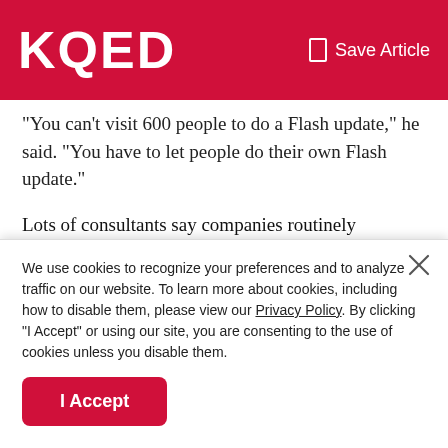KQED   Save Article
“You can’t visit 600 people to do a Flash update,” he said. “You have to let people do their own Flash update.”
Lots of consultants say companies routinely shortchange IT. But Kadel may have a point. At the time of the attack, KQED employed nine IT employees to service roughly 503 workers. That means IT represented less than 2 percent of the organization’s workforce.
A 2016 survey of media and entertainment companies by the
We use cookies to recognize your preferences and to analyze traffic on our website. To learn more about cookies, including how to disable them, please view our Privacy Policy. By clicking “I Accept” or using our site, you are consenting to the use of cookies unless you disable them.
I Accept